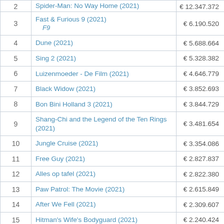| # | Title | Revenue |  |
| --- | --- | --- | --- |
| 2 | Spider-Man: No Way Home (2021) | € 12.347.372 | 1... |
| 3 | Fast & Furious 9 (2021) / F9 | € 6.190.520 |  |
| 4 | Dune (2021) | € 5.688.664 |  |
| 5 | Sing 2 (2021) | € 5.328.382 |  |
| 6 | Luizenmoeder - De Film (2021) | € 4.646.779 |  |
| 7 | Black Widow (2021) | € 3.852.693 |  |
| 8 | Bon Bini Holland 3 (2021) | € 3.844.729 |  |
| 9 | Shang-Chi and the Legend of the Ten Rings (2021) | € 3.481.654 |  |
| 10 | Jungle Cruise (2021) | € 3.354.086 |  |
| 11 | Free Guy (2021) | € 2.827.837 |  |
| 12 | Alles op tafel (2021) | € 2.822.380 |  |
| 13 | Paw Patrol: The Movie (2021) | € 2.615.849 |  |
| 14 | After We Fell (2021) | € 2.309.607 |  |
| 15 | Hitman's Wife's Bodyguard (2021) | € 2.240.424 |  |
| 16 | The Suicide Squad (2021) | € 2.120.563 |  |